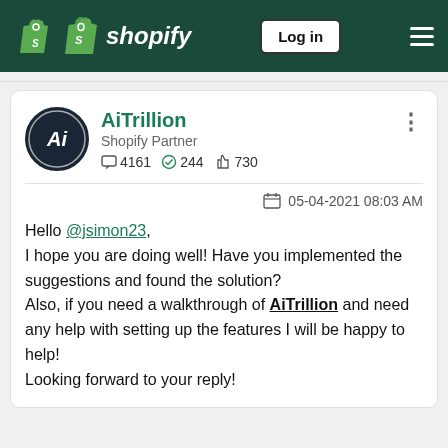Shopify — Log in
AiTrillion
Shopify Partner
4161  244  730
05-04-2021 08:03 AM
Hello @jsimon23,
I hope you are doing well! Have you implemented the suggestions and found the solution?
Also, if you need a walkthrough of AiTrillion and need any help with setting up the features I will be happy to help!
Looking forward to your reply!